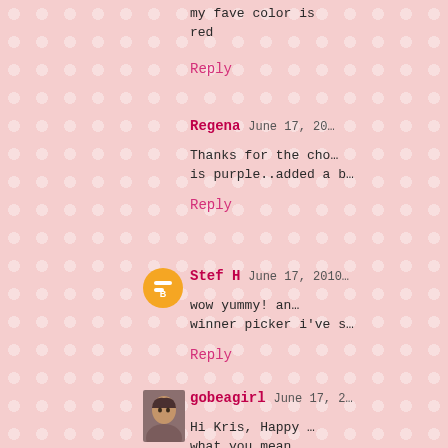my fave color is red
Reply
Regena June 17, 20...
Thanks for the cho... is purple..added a b...
Reply
[Figure (illustration): Blogger orange circle avatar icon]
Stef H June 17, 2010
wow yummy! an... winner picker i've s...
Reply
[Figure (photo): Small photo avatar of gobeagirl, woman with short dark hair]
gobeagirl June 17, 2...
Hi Kris, Happy ... what you mean...